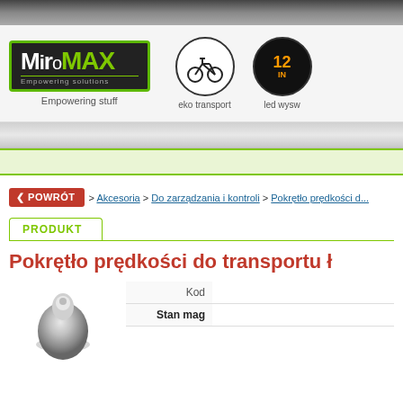MiroMAX - Empowering solutions
[Figure (logo): MiroMAX logo with green border, black background, white Miro and green MAX text, Empowering solutions tagline]
Empowering stuff
[Figure (illustration): Circle icon with bicycle - eko transport]
eko transport
[Figure (illustration): Circle icon with LED display showing 12 IN - led wyswietlacz]
led wysw
< POWRÓT  > Akcesoria > Do zarządzania i kontroli > Pokrętło prędkości d...
PRODUKT
Pokrętło prędkości do transportu ł...
[Figure (photo): Product photo of a metallic speed control knob]
| Kod | Stan mag |
| --- | --- |